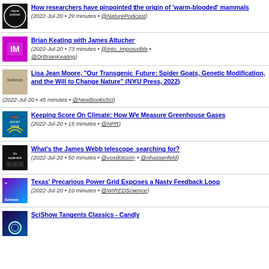How researchers have pinpointed the origin of 'warm-blooded' mammals (2022-Jul-20 • 29 minutes • @NaturePodcast)
Brian Keating with James Altucher (2022-Jul-20 • 73 minutes • @Into_Impossible • @DrBrianKeating)
Lisa Jean Moore, "Our Transgenic Future: Spider Goats, Genetic Modification, and the Will to Change Nature" (NYU Press, 2022) (2022-Jul-20 • 45 minutes • @NewBooksSci)
Keeping Score On Climate: How We Measure Greenhouse Gases (2022-Jul-20 • 15 minutes • @NPR)
What's the James Webb telescope searching for? (2022-Jul-20 • 50 minutes • @voxdotcom • @nhassenfeld)
Texas' Precarious Power Grid Exposes a Nasty Feedback Loop (2022-Jul-20 • 10 minutes • @WIREDScience)
SciShow Tangents Classics - Candy